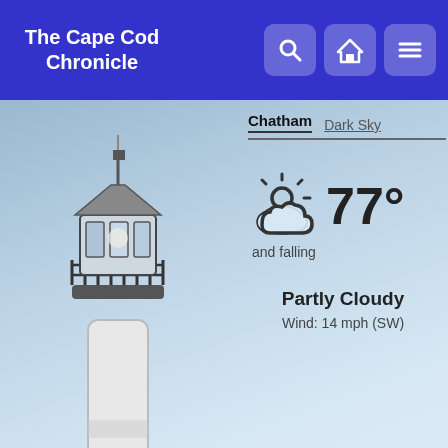The Cape Cod Chronicle
[Figure (screenshot): Weather widget showing partly cloudy weather icon, 77° temperature and falling, Partly Cloudy, Wind: 14 mph (SW), with tabs for Chatham and Dark Sky, overlaid on a lighthouse photo background]
Chatham | Dark Sky
77° and falling
Partly Cloudy
Wind: 14 mph (SW)
Orleans News
Cottage Colony Of Cape Artists Brightens Orleans Square
May 31, 2017